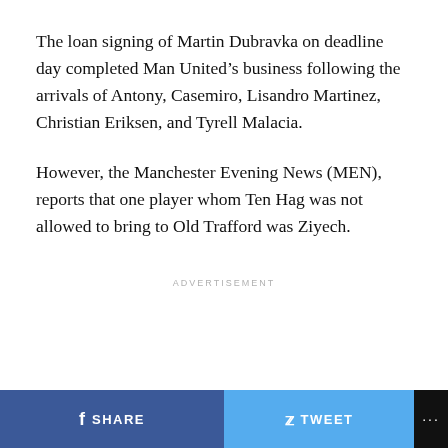The loan signing of Martin Dubravka on deadline day completed Man United's business following the arrivals of Antony, Casemiro, Lisandro Martinez, Christian Eriksen, and Tyrell Malacia.
However, the Manchester Evening News (MEN), reports that one player whom Ten Hag was not allowed to bring to Old Trafford was Ziyech.
ADVERTISEMENT
SHARE   TWEET   ...